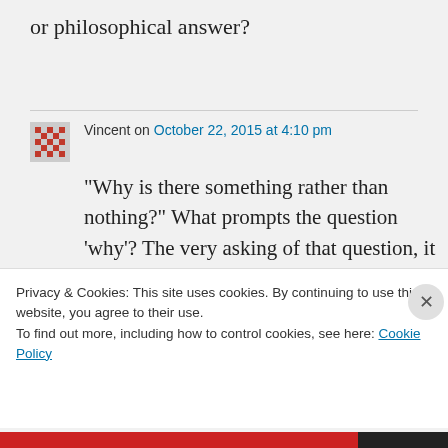or philosophical answer?
Vincent on October 22, 2015 at 4:10 pm
“Why is there something rather than nothing?” What prompts the question ‘why’? The very asking of that question, it seems to me, assumes that nothing is random
Privacy & Cookies: This site uses cookies. By continuing to use this website, you agree to their use.
To find out more, including how to control cookies, see here: Cookie Policy
Close and accept